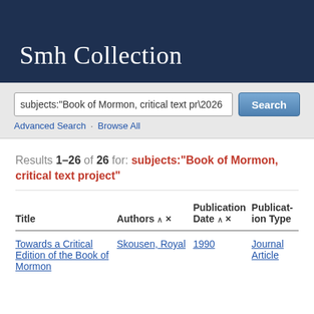Smh Collection
subjects:"Book of Mormon, critical text pr…"
Advanced Search · Browse All
Results 1–26 of 26 for: subjects:"Book of Mormon, critical text project"
| Title | Authors | Publication Date | Publication Type |
| --- | --- | --- | --- |
| Towards a Critical Edition of the Book of Mormon | Skousen, Royal | 1990 | Journal Article |